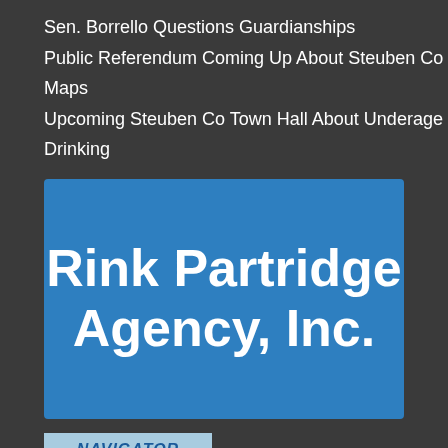Sen. Borrello Questions Guardianships
Public Referendum Coming Up About Steuben Co Maps
Upcoming Steuben Co Town Hall About Underage Drinking
[Figure (logo): Rink Partridge Agency, Inc. advertisement banner with blue background and white bold text]
[Figure (infographic): Healthcare Navigator advertisement card with compass logo and descriptive text about the service being a free product of WLEA PMJ Enterprises]